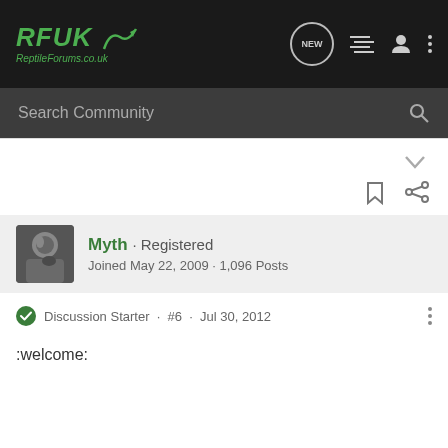RFUK ReptileForums.co.uk
Search Community
Myth · Registered
Joined May 22, 2009 · 1,096 Posts
Discussion Starter · #6 · Jul 30, 2012
:welcome: